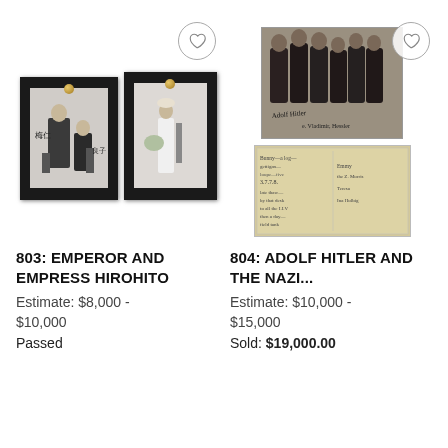[Figure (photo): Two framed black-and-white photographs of Emperor and Empress Hirohito in ornate dark frames with gold knobs]
[Figure (photo): Two sepia/black-and-white photographs: group portrait signed photo on top, handwritten note/letter on bottom]
803: EMPEROR AND EMPRESS HIROHITO
Estimate: $8,000 - $10,000
Passed
804: ADOLF HITLER AND THE NAZI...
Estimate: $10,000 - $15,000
Sold: $19,000.00